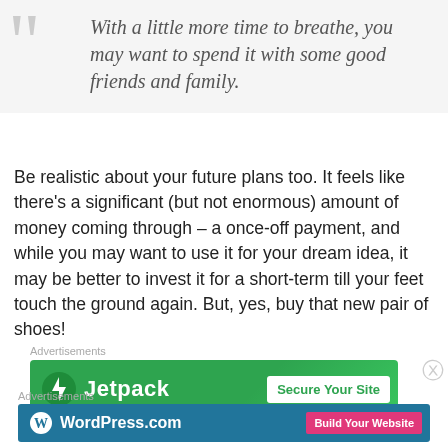With a little more time to breathe, you may want to spend it with some good friends and family.
Be realistic about your future plans too. It feels like there's a significant (but not enormous) amount of money coming through – a once-off payment, and while you may want to use it for your dream idea, it may be better to invest it for a short-term till your feet touch the ground again. But, yes, buy that new pair of shoes!
Advertisements
[Figure (screenshot): Jetpack ad banner: green background with Jetpack logo and 'Secure Your Site' button]
Advertisements
[Figure (screenshot): WordPress.com ad banner: dark blue background with WordPress logo and 'Build Your Website' pink button]